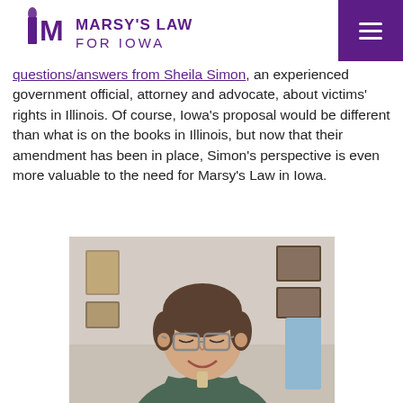Marsy's Law for Iowa
questions/answers from Sheila Simon, an experienced government official, attorney and advocate, about victims' rights in Illinois. Of course, Iowa's proposal would be different than what is on the books in Illinois, but now that their amendment has been in place, Simon's perspective is even more valuable to the need for Marsy's Law in Iowa.
[Figure (photo): Photo of Sheila Simon smiling, wearing glasses, in an office setting with framed items on the wall behind her.]